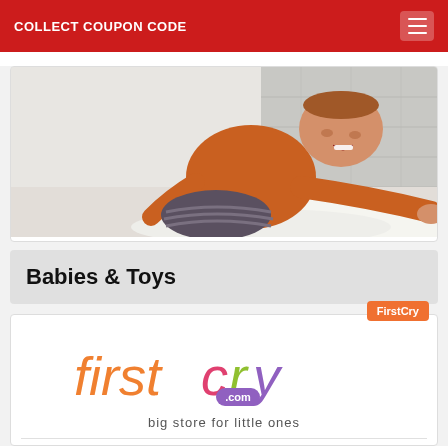COLLECT COUPON CODE
[Figure (photo): Baby crawling on white fluffy surface, wearing orange sweater and knit pants, smiling in a bright room]
Babies & Toys
[Figure (logo): FirstCry.com logo — colorful letters spelling 'firstcry' with a speech bubble '.com' and tagline 'big store for little ones']